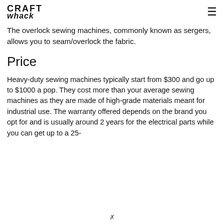CRAFT whack
The overlock sewing machines, commonly known as sergers, allows you to seam/overlock the fabric.
Price
Heavy-duty sewing machines typically start from $300 and go up to $1000 a pop. They cost more than your average sewing machines as they are made of high-grade materials meant for industrial use. The warranty offered depends on the brand you opt for and is usually around 2 years for the electrical parts while you can get up to a 25-